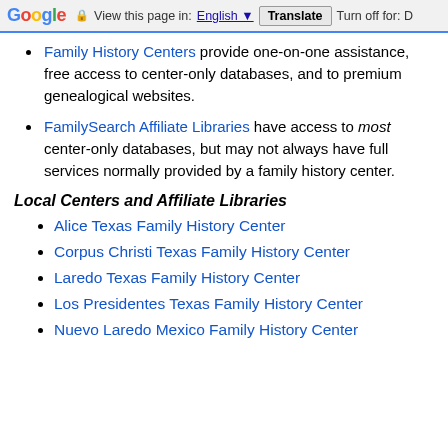Google  View this page in: English [▼]  Translate  Turn off for: D
Family History Centers provide one-on-one assistance, free access to center-only databases, and to premium genealogical websites.
FamilySearch Affiliate Libraries have access to most center-only databases, but may not always have full services normally provided by a family history center.
Local Centers and Affiliate Libraries
Alice Texas Family History Center
Corpus Christi Texas Family History Center
Laredo Texas Family History Center
Los Presidentes Texas Family History Center
Nuevo Laredo Mexico Family History Center